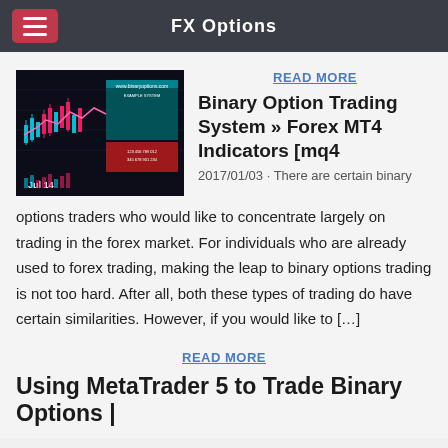FX Options
READ MORE
Binary Option Trading System » Forex MT4 Indicators [mq4
2017/01/03 · There are certain binary options traders who would like to concentrate largely on trading in the forex market. For individuals who are already used to forex trading, making the leap to binary options trading is not too hard. After all, both these types of trading do have certain similarities. However, if you would like to […]
[Figure (screenshot): Screenshot of a Forex MT4 trading chart showing candlestick price action with red and teal colored panels and indicators, dated Jul 14]
READ MORE
Using MetaTrader 5 to Trade Binary Options |